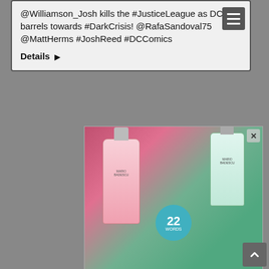@Williamson_Josh kills the #JusticeLeague as DC barrels towards #DarkCrisis! @RafaSandoval75 @MattHerms #JoshReed #DCComics
Details ▶
[Figure (photo): Advertisement for 37 beauty products article with Mario Badescu skincare bottles on pink and green background, with '22 words' badge circle]
37 BEAUTY PRODUCTS WITH SUCH GOOD REVIEWS YOU MIGHT WANT TO TRY THEM YOURSELF
[Figure (photo): MAC cosmetics advertisement showing lipsticks on colorful background with SHOP NOW button]